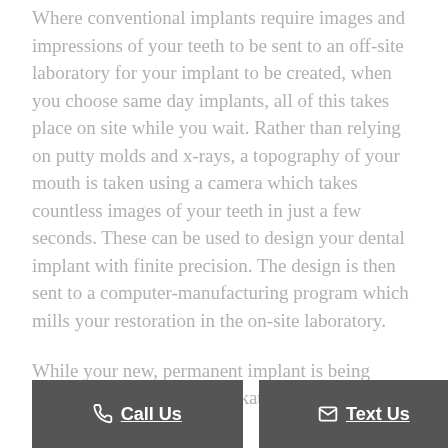Where conventional implants require images and impressions of your teeth to be sent to an off-site laboratory for your implant to be created, when you choose same day implants, all of this takes place on site while you wait. Rather than relying on putty molds and x-rays, a topography of your mouth is taken using a camera which takes countless images of your teeth in just a few seconds. These can be used to design your dental implant with finite precision. The design is then sent to a computer-manufacturing program which mills your restoration in the on-site laboratory.
While your new, permanent implant is being milled, your dentist in Mankato, MN is able to undertake any of the w... o pr... h for